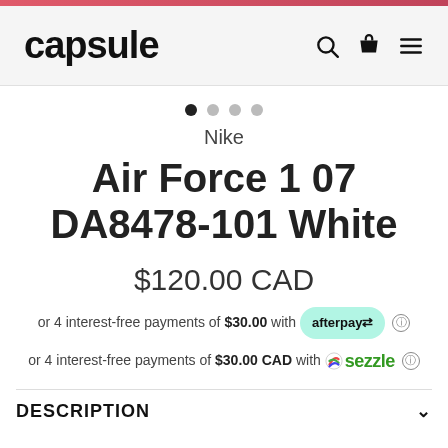[Figure (logo): capsule store logo with navigation icons (search, bag, menu)]
[Figure (other): Four pagination dots, first dot filled black, others grey]
Nike
Air Force 1 07 DA8478-101 White
$120.00 CAD
or 4 interest-free payments of $30.00 with afterpay
or 4 interest-free payments of $30.00 CAD with sezzle
DESCRIPTION